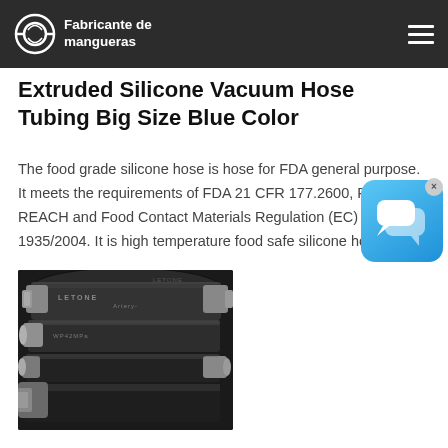Fabricante de mangueras
Extruded Silicone Vacuum Hose Tubing Big Size Blue Color
The food grade silicone hose is hose for FDA general purpose. It meets the requirements of FDA 21 CFR 177.2600, RoHS, REACH and Food Contact Materials Regulation (EC) 1935/2004. It is high temperature food safe silicone hose.
[Figure (photo): Photo of black rubber hoses with metal fittings/connectors labeled LETONE Artery, shown bundled together.]